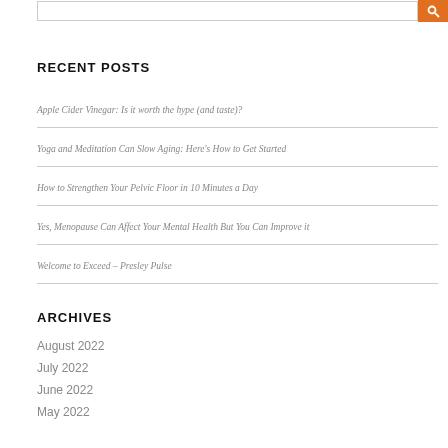RECENT POSTS
Apple Cider Vinegar: Is it worth the hype (and taste)?
Yoga and Meditation Can Slow Aging: Here's How to Get Started
How to Strengthen Your Pelvic Floor in 10 Minutes a Day
Yes, Menopause Can Affect Your Mental Health But You Can Improve it
Welcome to Exceed – Presley Pulse
ARCHIVES
August 2022
July 2022
June 2022
May 2022